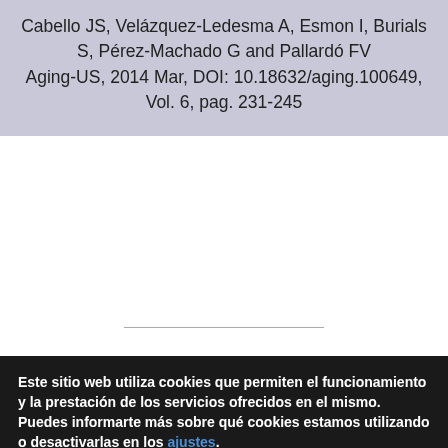Cabello JS, Velázquez-Ledesma A, Esmon I, Burials S, Pérez-Machado G and Pallardó FV Aging-US, 2014 Mar,  DOI:  10.18632/aging.100649,  Vol. 6,  pag. 231-245
Este sitio web utiliza cookies que permiten el funcionamiento y la prestación de los servicios ofrecidos en el mismo. Puedes informarte más sobre qué cookies estamos utilizando o desactivarlas en los ajustes.
Aceptar